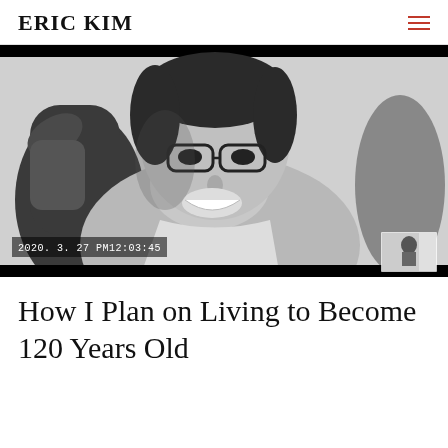ERIC KIM
[Figure (photo): Black and white close-up photo of a young Asian man wearing glasses, shirtless, giving a thumbs up and smiling toward the camera. Timestamp overlay reads 2020. 3. 27 PM12:03:45 in lower left. Small thumbnail image in lower right corner.]
How I Plan on Living to Become 120 Years Old